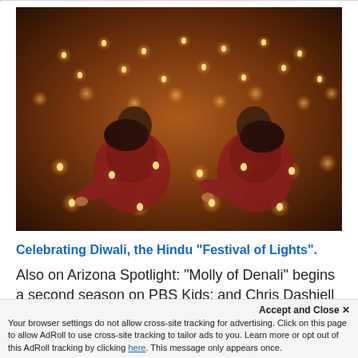[Figure (photo): Two girls in red dresses sitting on the ground surrounded by hundreds of small oil lamps (diyas) glowing in the dark, celebrating Diwali, the Hindu Festival of Lights.]
Celebrating Diwali, the Hindu "Festival of Lights".
Also on Arizona Spotlight: "Molly of Denali" begins a second season on PBS Kids; and Chris Dashiell looks back at the cinematic history of Judge Ro
Accept and Close ×
Your browser settings do not allow cross-site tracking for advertising. Click on this page to allow AdRoll to use cross-site tracking to tailor ads to you. Learn more or opt out of this AdRoll tracking by clicking here. This message only appears once.